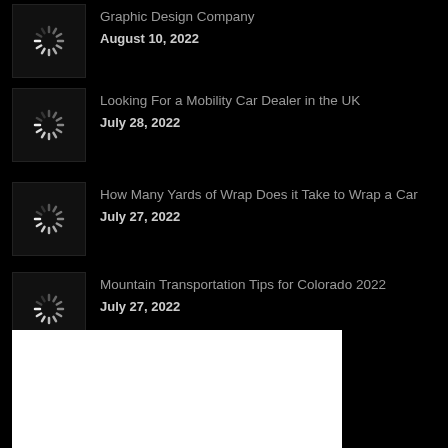Graphic Design Company
August 10, 2022
Looking For a Mobility Car Dealer in the UK
July 28, 2022
How Many Yards of Wrap Does it Take to Wrap a Car
July 27, 2022
Mountain Transportation Tips for Colorado 2022
July 27, 2022
[Figure (other): White rectangle/box at bottom of page]